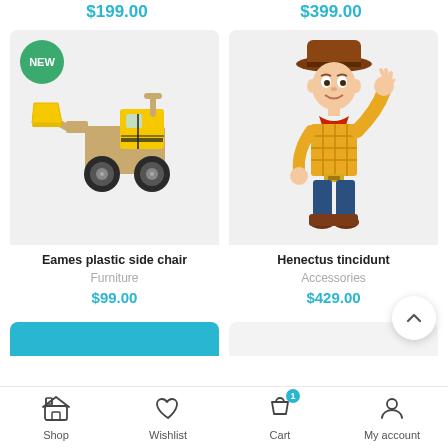$199.00
$399.00
[Figure (photo): Yellow wooden toy bulldozer/front loader with black wheels and a 'NEW' badge]
[Figure (photo): Woody cowboy action figure from Toy Story, waving hand, wearing hat and plaid shirt]
Eames plastic side chair
Furniture
$99.00
Henectus tincidunt
Accessories
$429.00
Shop  Wishlist  Cart  My account